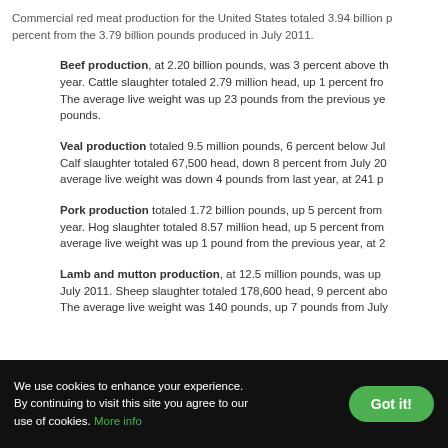Commercial red meat production for the United States totaled 3.94 billion pounds, up 4 percent from the 3.79 billion pounds produced in July 2011.
Beef production, at 2.20 billion pounds, was 3 percent above the previous year. Cattle slaughter totaled 2.79 million head, up 1 percent from the previous year. The average live weight was up 23 pounds from the previous year, at [value] pounds.
Veal production totaled 9.5 million pounds, 6 percent below July [year]. Calf slaughter totaled 67,500 head, down 8 percent from July 20[year]. The average live weight was down 4 pounds from last year, at 241 pounds.
Pork production totaled 1.72 billion pounds, up 5 percent from [previous] year. Hog slaughter totaled 8.57 million head, up 5 percent from [previous]. The average live weight was up 1 pound from the previous year, at 2[value].
Lamb and mutton production, at 12.5 million pounds, was up [percent] July 2011. Sheep slaughter totaled 178,600 head, 9 percent above [previous]. The average live weight was 140 pounds, up 7 pounds from July [year].
We use cookies to enhance your experience. By continuing to visit this site you agree to our use of cookies. More info